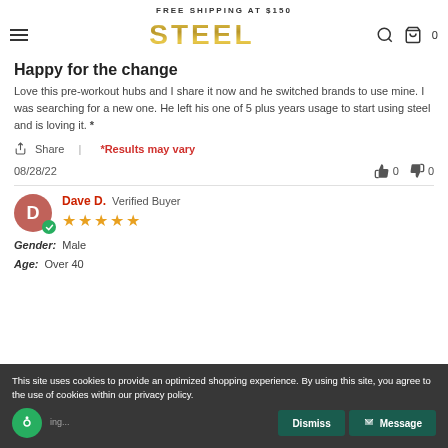FREE SHIPPING AT $150
[Figure (logo): STEEL brand logo in gold gradient metallic text]
Happy for the change
Love this pre-workout hubs and I share it now and he switched brands to use mine. I was searching for a new one. He left his one of 5 plus years usage to start using steel and is loving it. *
Share | *Results may vary
08/28/22   👍 0   👎 0
Dave D. Verified Buyer ★★★★★
Gender: Male
Age: Over 40
This site uses cookies to provide an optimized shopping experience. By using this site, you agree to the use of cookies within our privacy policy.